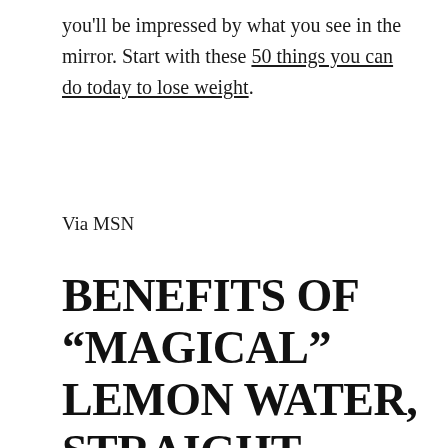you'll be impressed by what you see in the mirror. Start with these 50 things you can do today to lose weight.
Via MSN
BENEFITS OF “MAGICAL” LEMON WATER, STRAIGHT FROM A DOCTOR
If there’s one thing that unites women from all different wellness cliques—A-list nutritionists, natural beauty bosses, and fitness fashion moguls alike—it’s gotta be drinking water with lemon. (And